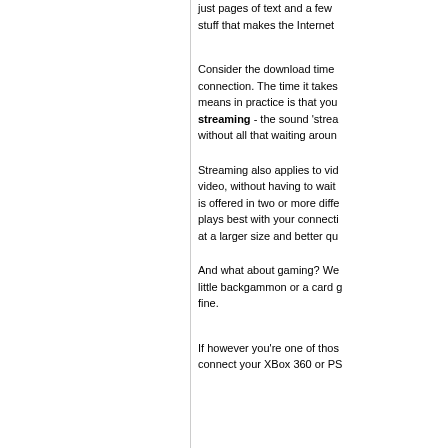just pages of text and a few stuff that makes the Internet
Consider the download time connection. The time it takes means in practice is that you streaming - the sound 'strea without all that waiting aroun
Streaming also applies to vid video, without having to wait is offered in two or more diffe plays best with your connecti at a larger size and better qu
And what about gaming? We little backgammon or a card g fine.
If however you're one of thos connect your XBox 360 or PS